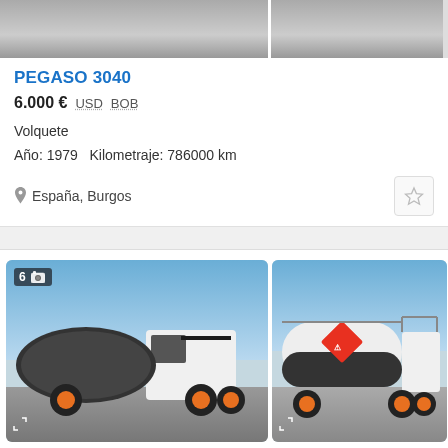[Figure (photo): Top cropped truck images - two partial vehicle photos side by side]
PEGASO 3040
6.000 € USD BOB
Volquete
Año: 1979  Kilometraje: 786000 km
España, Burgos
[Figure (photo): Two photos of a white and black tanker truck (PEGASO) with orange wheels, carrying a cylindrical tank with hazmat diamond sign. Left photo shows front-left view, right photo shows rear-right view.]